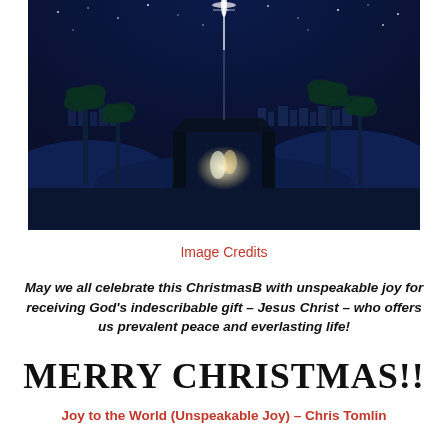[Figure (illustration): A dark blue night sky nativity scene illustration showing a manger/stable in the center with a bright star above, palm trees on either side, desert landscape, city/buildings visible in the background, and a glowing light inside the stable representing the nativity.]
Image Credits
May we all celebrate this ChristmasB with unspeakable joy for receiving God's indescribable gift – Jesus Christ – who offers us prevalent peace and everlasting life!
MERRY CHRISTMAS!!
Joy to the World (Unspeakable Joy) – Chris Tomlin